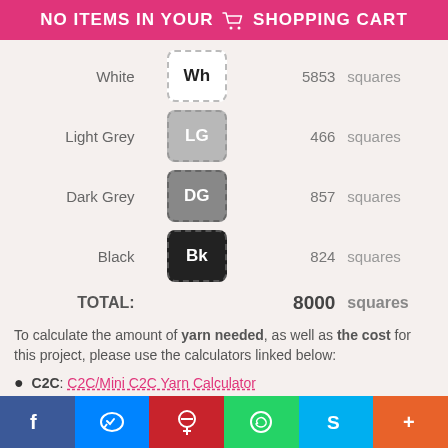NO ITEMS IN YOUR SHOPPING CART
| Color | Swatch | Count | Unit |
| --- | --- | --- | --- |
| White | Wh | 5853 | squares |
| Light Grey | LG | 466 | squares |
| Dark Grey | DG | 857 | squares |
| Black | Bk | 824 | squares |
| TOTAL: |  | 8000 | squares |
To calculate the amount of yarn needed, as well as the cost for this project, please use the calculators linked below:
C2C: C2C/Mini C2C Yarn Calculator
SC: SC/DC/HDC Yarn Calculator
• PDF CONTENT •
The PDF file contains:
sample image (digitally edited, not a photo of a finished